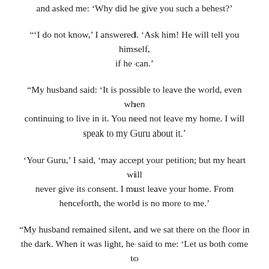and asked me: ‘Why did he give you such a behest?’
“‘I do not know,’ I answered. ‘Ask him! He will tell you himself, if he can.’
“My husband said: ‘It is possible to leave the world, even when continuing to live in it. You need not leave my home. I will speak to my Guru about it.’
‘Your Guru,’ I said, ‘may accept your petition; but my heart will never give its consent. I must leave your home. From henceforth, the world is no more to me.’
“My husband remained silent, and we sat there on the floor in the dark. When it was light, he said to me: ‘Let us both come to him.’
“I folded my hands and said: ‘I shall never meet him again.’